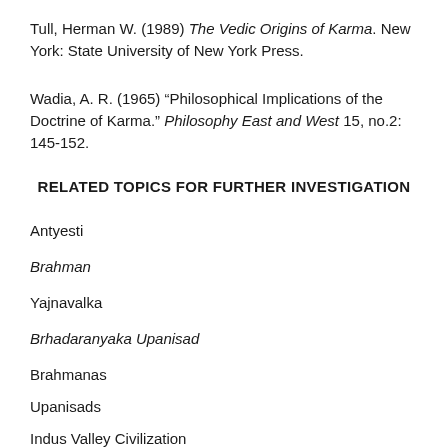Tull, Herman W. (1989) The Vedic Origins of Karma. New York: State University of New York Press.
Wadia, A. R. (1965) “Philosophical Implications of the Doctrine of Karma.” Philosophy East and West 15, no.2: 145-152.
RELATED TOPICS FOR FURTHER INVESTIGATION
Antyesti
Brahman
Yajnavalka
Brhadaranyaka Upanisad
Brahmanas
Upanisads
Indus Valley Civilization